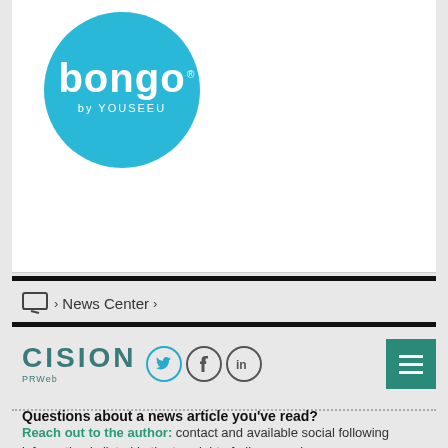[Figure (logo): Bongo by YouSeeU logo — white text 'bongo' with 'by YOUSEEU' on a bright blue circle]
> News Center >
[Figure (logo): CISION PRWeb logo with Twitter, Facebook, and LinkedIn social icons, and a teal hamburger menu button]
Questions about a news article you've read?
Reach out to the author: contact and available social following information is listed in the top-right of all news releases.
Questions about your PRWeb account or interested in learning more about our news services?
Call PRWeb:1-866-640-6397